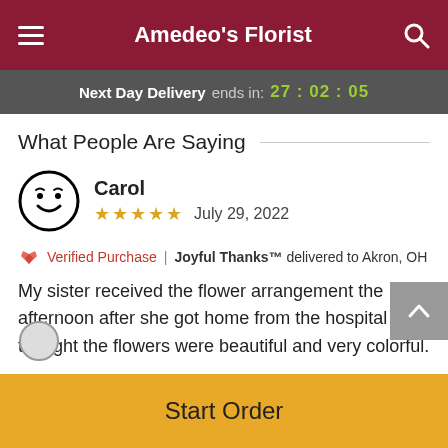Amedeo's Florist
Next Day Delivery ends in: 27:02:05
What People Are Saying
Carol
★★★★★ July 29, 2022
Verified Purchase | Joyful Thanks™ delivered to Akron, OH
My sister received the flower arrangement the afternoon after she got home from the hospital and thought the flowers were beautiful and very colorful.
Start Order